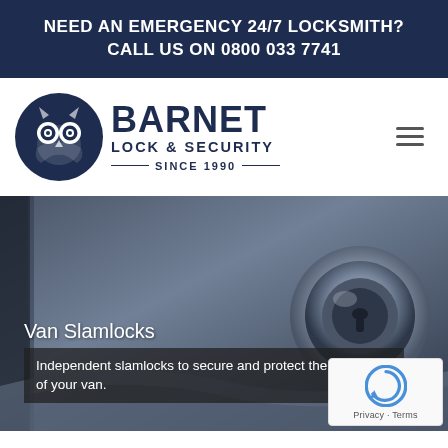NEED AN EMERGENCY 24/7 LOCKSMITH? CALL US ON 0800 033 7741
[Figure (logo): Barnet Lock & Security logo with owl mascot in dark navy circle, text 'BARNET LOCK & SECURITY SINCE 1990']
[Figure (photo): Close-up photo of a silver/chrome deadbolt lock cylinder on a grey door, hero image background]
Van Slamlocks
Independent slamlocks to secure and protect the contents of your van.